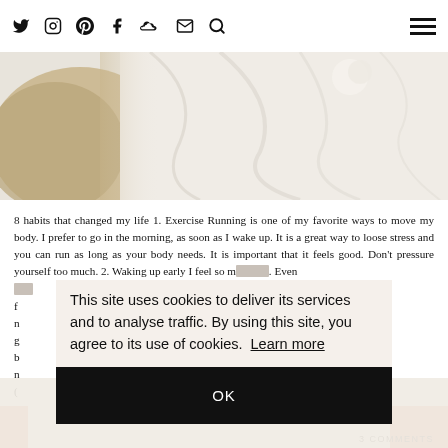Navigation bar with social icons: Twitter, Instagram, Pinterest, Facebook, SoundCloud, Email, Search, and hamburger menu
[Figure (photo): Hero photo showing rumpled white bedding with a fur/beige pillow on the left and some flowers, soft and airy style]
8 habits that changed my life 1. Exercise Running is one of my favorite ways to move my body. I prefer to go in the morning, as soon as I wake up. It is a great way to loose stress and you can run as long as your body needs. It is important that it feels good. Don't pressure yourself too much. 2. Waking up early I feel so m... Even w... to rest f... early n... how I g... s can b... do so n... eople (...)
This site uses cookies to deliver its services and to analyse traffic. By using this site, you agree to its use of cookies. Learn more
OK
3 COMMENTS